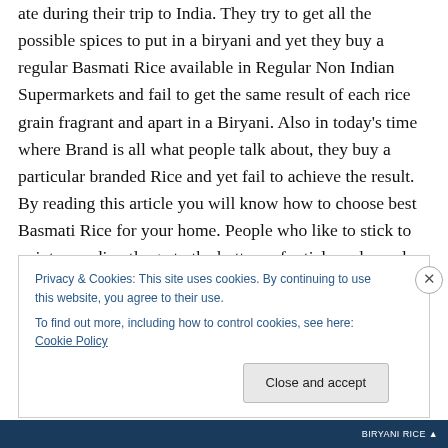ate during their trip to India. They try to get all the possible spices to put in a biryani and yet they buy a regular Basmati Rice available in Regular Non Indian Supermarkets and fail to get the same result of each rice grain fragrant and apart in a Biryani. Also in today’s time where Brand is all what people talk about, they buy a particular branded Rice and yet fail to achieve the result. By reading this article you will know how to choose best Basmati Rice for your home. People who like to stick to points can directly go to the bottom of article and people who like stories and culture around a food can continue to
Privacy & Cookies: This site uses cookies. By continuing to use this website, you agree to their use.
To find out more, including how to control cookies, see here: Cookie Policy